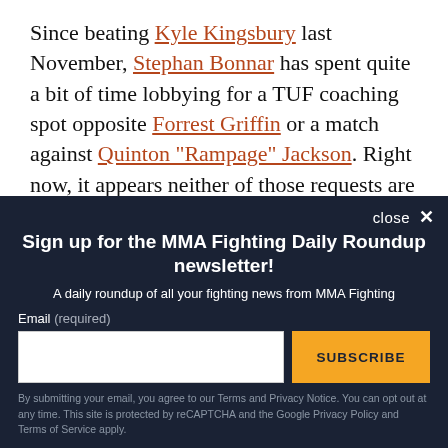Since beating Kyle Kingsbury last November, Stephan Bonnar has spent quite a bit of time lobbying for a TUF coaching spot opposite Forrest Griffin or a match against Quinton "Rampage" Jackson. Right now, it appears neither of those requests are likely to be granted, and if neither materializes, we might have seen the last of Bonnar in the cage.
close ×
Sign up for the MMA Fighting Daily Roundup newsletter!
A daily roundup of all your fighting news from MMA Fighting
Email (required)
SUBSCRIBE
By submitting your email, you agree to our Terms and Privacy Notice. You can opt out at any time. This site is protected by reCAPTCHA and the Google Privacy Policy and Terms of Service apply.